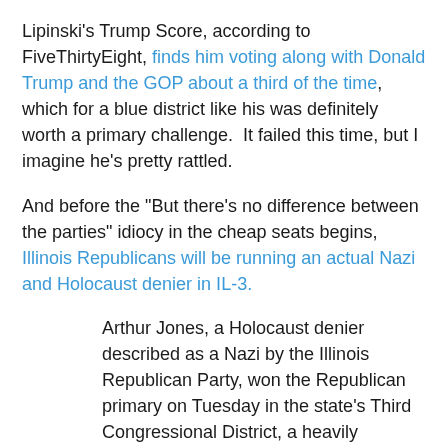Lipinski's Trump Score, according to FiveThirtyEight, finds him voting along with Donald Trump and the GOP about a third of the time, which for a blue district like his was definitely worth a primary challenge.  It failed this time, but I imagine he's pretty rattled.
And before the "But there's no difference between the parties" idiocy in the cheap seats begins, Illinois Republicans will be running an actual Nazi and Holocaust denier in IL-3.
Arthur Jones, a Holocaust denier described as a Nazi by the Illinois Republican Party, won the Republican primary on Tuesday in the state's Third Congressional District, a heavily Democratic district that includes part of Chicago and its suburbs, according to The Associated Press.
Mr. Jones, 70, unsuccessfully sought the nomination five times before, and his victory on Tuesday was a foregone conclusion after the